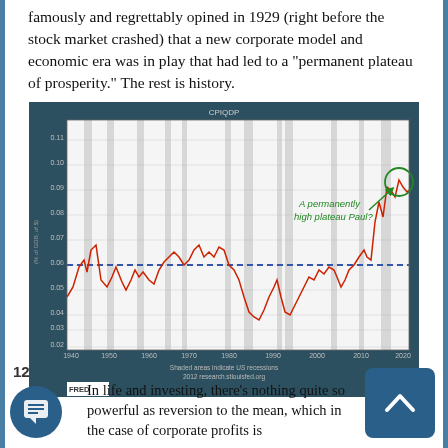famously and regrettably opined in 1929 (right before the stock market crashed) that a new corporate model and economic era was in play that had led to a "permanent plateau of prosperity." The rest is history.
[Figure (continuous-plot): Line chart showing corporate profits as fraction of GDP from 1940 to 2020. A blue dashed horizontal line marks approximately 0.06. The red line fluctuates, with recessions shaded in gray. An annotation reads 'A permanently high plateau Paul?' with an arrow pointing to a peak near 2012. Source: FRED / 2012 research.stlouisfed.org]
In life and investing, there's nothing quite so powerful as reversion to the mean, which in the case of corporate profits is